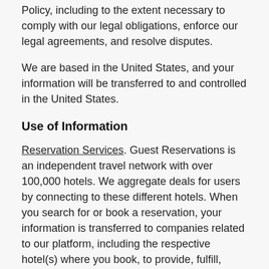Policy, including to the extent necessary to comply with our legal obligations, enforce our legal agreements, and resolve disputes.
We are based in the United States, and your information will be transferred to and controlled in the United States.
Use of Information
Reservation Services. Guest Reservations is an independent travel network with over 100,000 hotels. We aggregate deals for users by connecting to these different hotels. When you search for or book a reservation, your information is transferred to companies related to our platform, including the respective hotel(s) where you book, to provide, fulfill, confirm, and update your bookings. In other words,